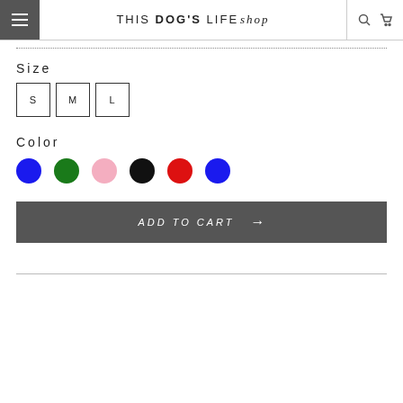THIS DOG'S LIFE shop
Size
S  M  L
Color
[Figure (infographic): Six color swatches: blue, green, pink, black, red, blue]
ADD TO CART →